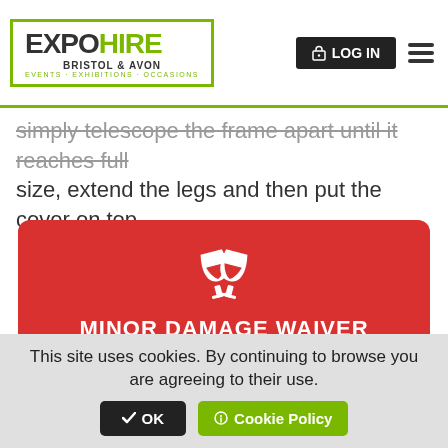EXPO HIRE BRISTOL & AVON EVENTS · EXHIBITIONS · OCCASIONS | LOG IN
simply telescope the frame apart until it reaches full size, extend the legs and then put the cover on top.
[Figure (infographic): Red promotional card with wine glasses clinking icon, text 'MINOR DAMAGE WAIVER FREE Don't stress over a broken plate']
This site uses cookies. By continuing to browse you are agreeing to their use.